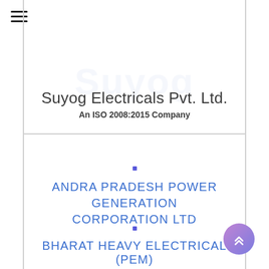Suyog Electricals Pvt. Ltd.
An ISO 2008:2015 Company
ANDRA PRADESH POWER GENERATION CORPORATION LTD
BHARAT HEAVY ELECTRICAL (PEM)